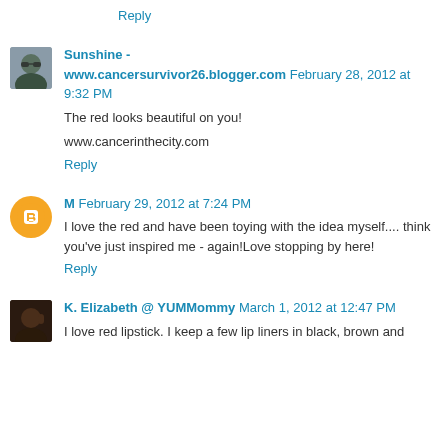Reply
Sunshine - www.cancersurvivor26.blogger.com February 28, 2012 at 9:32 PM
The red looks beautiful on you!
www.cancerinthecity.com
Reply
M February 29, 2012 at 7:24 PM
I love the red and have been toying with the idea myself.... think you've just inspired me - again!Love stopping by here!
Reply
K. Elizabeth @ YUMMommy March 1, 2012 at 12:47 PM
I love red lipstick. I keep a few lip liners in black, brown and